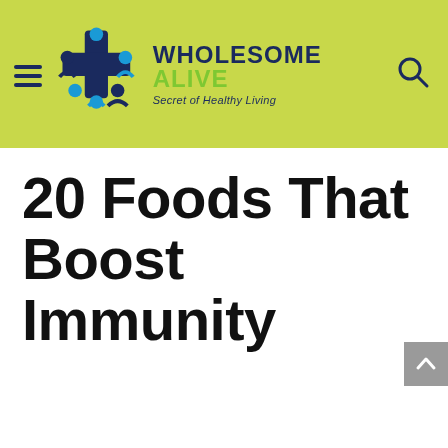[Figure (logo): Wholesome Alive website header with logo, hamburger menu, brand name 'WHOLESOME ALIVE', tagline 'Secret of Healthy Living', and search icon on a lime-green background]
20 Foods That Boost Immunity